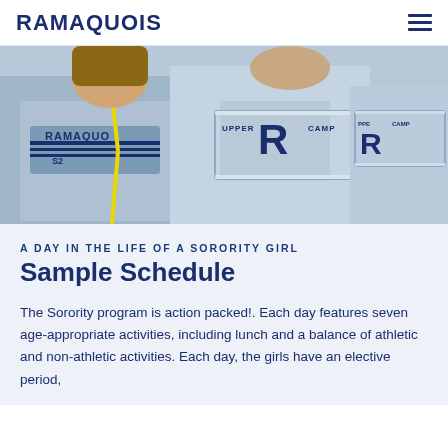RAMAQUOIS
[Figure (photo): Three children wearing light blue Ramaquois camp sweatshirts with 'Upper R Camp' lettering and a varsity-style R logo. A yellow lanyard is visible on one child.]
A DAY IN THE LIFE OF A SORORITY GIRL
Sample Schedule
The Sorority program is action packed!. Each day features seven age-appropriate activities, including lunch and a balance of athletic and non-athletic activities. Each day, the girls have an elective period,